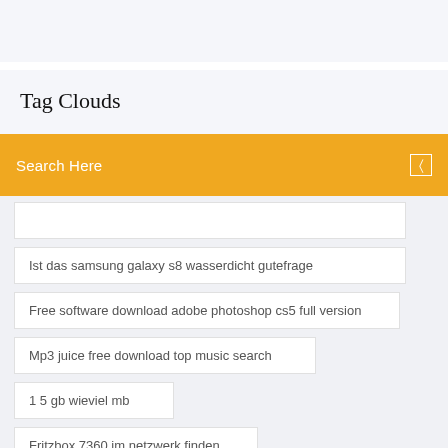Tag Clouds
Search Here
Ist das samsung galaxy s8 wasserdicht gutefrage
Free software download adobe photoshop cs5 full version
Mp3 juice free download top music search
1 5 gb wieviel mb
Fritzbox 7360 im netzwerk finden
Hp deskjet 3637 scan-treiber